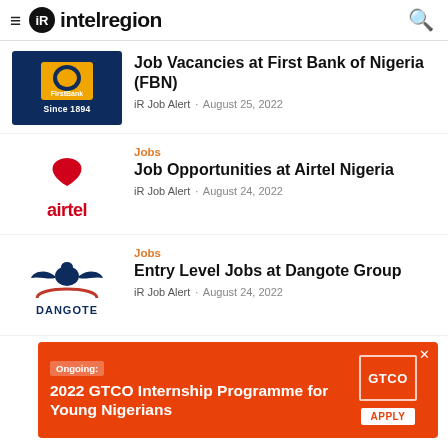≡ iR intelregion
[Figure (logo): FirstBank logo on dark navy background]
Job Vacancies at First Bank of Nigeria (FBN)
iR Job Alert · August 25, 2022
Jobs
[Figure (logo): Airtel logo — red swoosh and airtel wordmark in red]
Job Opportunities at Airtel Nigeria
iR Job Alert · August 24, 2022
Jobs
[Figure (logo): Dangote logo — eagle on red arch above DANGOTE wordmark]
Entry Level Jobs at Dangote Group
iR Job Alert · August 24, 2022
[Figure (infographic): GTCO internship advertisement banner: Ongoing: 2022 GTCO Internship Programme for Young Nigerians, with GTCO logo and APPLY button, orange background]